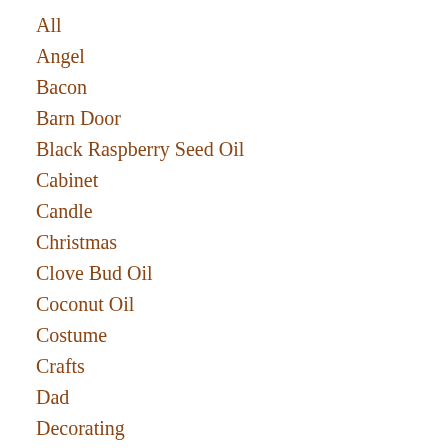All
Angel
Bacon
Barn Door
Black Raspberry Seed Oil
Cabinet
Candle
Christmas
Clove Bud Oil
Coconut Oil
Costume
Crafts
Dad
Decorating
Dollar Tree
Essential Oils
Frankincense
Geranium
Halloween